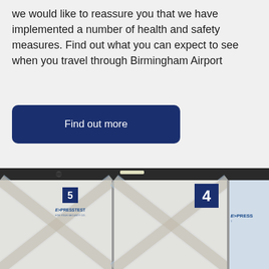we would like to reassure you that we have implemented a number of health and safety measures. Find out what you can expect to see when you travel through Birmingham Airport
Find out more
[Figure (photo): Airport COVID testing booth with two masked healthcare workers in white aprons standing in front of Express Test branded booths numbered 4 and 5]